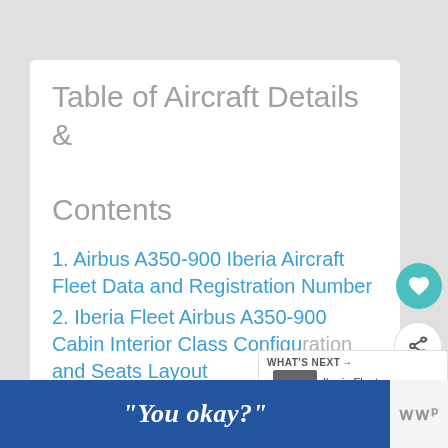Table of Aircraft Details & Contents
1. Airbus A350-900 Iberia Aircraft Fleet Data and Registration Number
2. Iberia Fleet Airbus A350-900 Cabin Interior Class Configuration and Seats Layout
"You okay?"